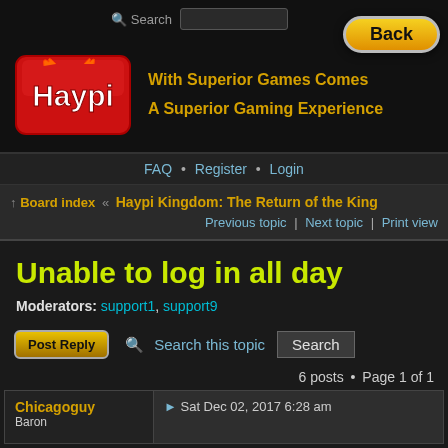[Figure (screenshot): Haypi forum website header with logo, tagline, navigation, breadcrumb, topic title, moderators, action bar, and first post row]
Search | Back
[Figure (logo): Haypi logo — red cartoon character with text 'Haypi']
With Superior Games Comes A Superior Gaming Experience
FAQ • Register • Login
Board index « Haypi Kingdom: The Return of the King
Previous topic | Next topic | Print view
Unable to log in all day
Moderators: support1, support9
Post Reply   🔍 Search this topic   Search
6 posts • Page 1 of 1
Chicagoguy
Baron
Sat Dec 02, 2017 6:28 am